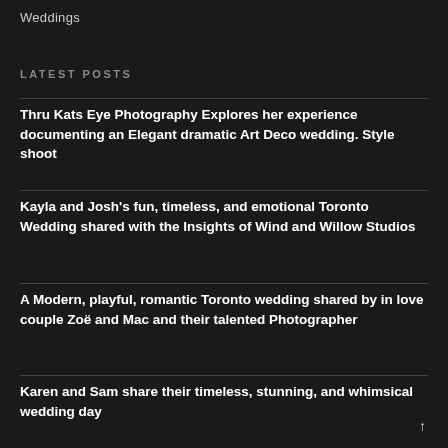Weddings
LATEST POSTS
Thru Kats Eye Photography Explores her experience documenting an Elegant dramatic Art Deco wedding. Style shoot
Kayla and Josh's fun, timeless, and emotional Toronto Wedding shared with the Insights of Wind and Willow Studios
A Modern, playful, romantic Toronto wedding shared by in love couple Zoë and Mac and their talented Photographer
Karen and Sam share their timeless, stunning, and whimsical wedding day